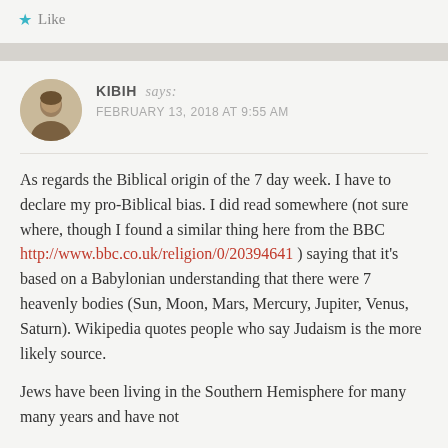Like
KIBIH says: FEBRUARY 13, 2018 AT 9:55 AM
As regards the Biblical origin of the 7 day week. I have to declare my pro-Biblical bias. I did read somewhere (not sure where, though I found a similar thing here from the BBC http://www.bbc.co.uk/religion/0/20394641 ) saying that it's based on a Babylonian understanding that there were 7 heavenly bodies (Sun, Moon, Mars, Mercury, Jupiter, Venus, Saturn). Wikipedia quotes people who say Judaism is the more likely source.
Jews have been living in the Southern Hemisphere for many many years and have not